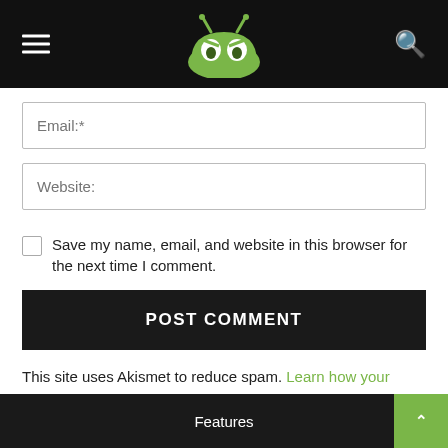Header with hamburger menu, logo, and search icon
[Figure (logo): Android/robot mascot logo in green with angry eyes, white background]
Email:*
Website:
Save my name, email, and website in this browser for the next time I comment.
POST COMMENT
This site uses Akismet to reduce spam. Learn how your comment data is processed.
Features